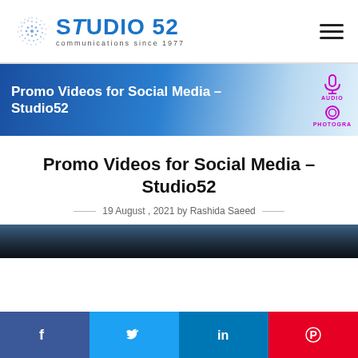[Figure (logo): Studio52 logo with dot-pattern circle graphic and text 'STUDIO 52 communications since 1977']
[Figure (screenshot): Website banner with gradient blue background showing 'Promo Videos for Social Media – Studio52' with microphone and camera icons on right side labeled AUDIO and PHOTOGRA]
Promo Videos for Social Media – Studio52
19 August , 2021 by Rashida Saeed
[Figure (photo): Partial thumbnail of an article image showing dark tones at the bottom of the article area]
[Figure (infographic): Social media share bar at bottom with Facebook, Twitter, LinkedIn, and Pinterest buttons]